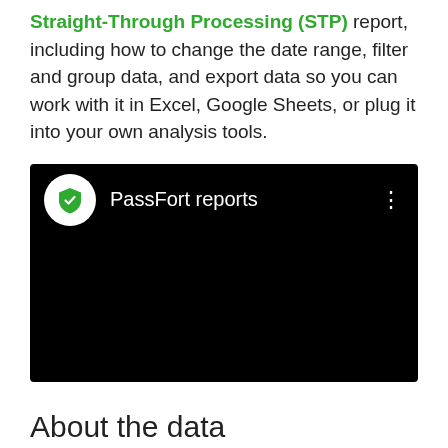Straight-Through Processing (STP) report, including how to change the date range, filter and group data, and export data so you can work with it in Excel, Google Sheets, or plug it into your own analysis tools.
[Figure (screenshot): Embedded video thumbnail showing a black background with the PassFort logo (white circle with green shield icon) and the text 'PassFort reports' in white, with a three-dot menu icon on the right.]
About the data